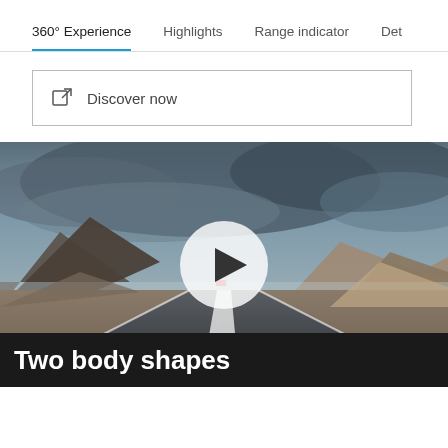360° Experience    Highlights    Range indicator    Det
Discover now
[Figure (screenshot): Road scene photograph showing a winding road through arid mountainous landscape with dramatic cloudy sky, a car visible in the distance, with a circular play button overlay in the center]
Two body shapes